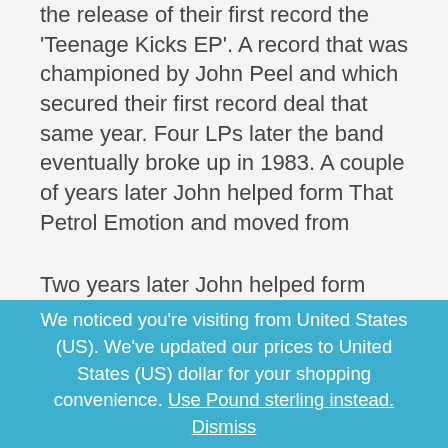the release of their first record the 'Teenage Kicks EP'. A record that was championed by John Peel and which secured their first record deal that same year. Four LPs later the band eventually broke up in 1983. A couple of years later John helped form That Petrol Emotion and moved from Derry to London. Their first LP Manic Pop Thrill reached No.1 in the Independent Charts in the UK in 1986 and the band subsequently signed a major deal to finance several more records until John left the band in 1989 to return back home to Derry to raise his family. John then worked for The North West Musicians Collective, which eventually evolved into The Nerve Centre by 1994.
Two years later John helped form another band, Dare...
We noticed you're visiting from United States (US). We've updated our prices to United States (US) dollar for your shopping convenience. Use Pound sterling instead. Dismiss